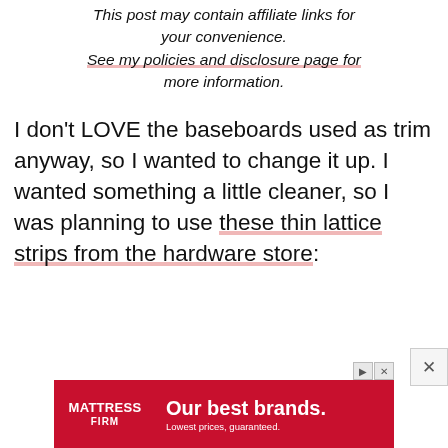This post may contain affiliate links for your convenience. See my policies and disclosure page for more information.
I don't LOVE the baseboards used as trim anyway, so I wanted to change it up. I wanted something a little cleaner, so I was planning to use these thin lattice strips from the hardware store:
[Figure (screenshot): Advertisement banner for Mattress Firm: red background with white text 'Our best brands. Lowest prices, guaranteed.' with Mattress Firm logo on left.]